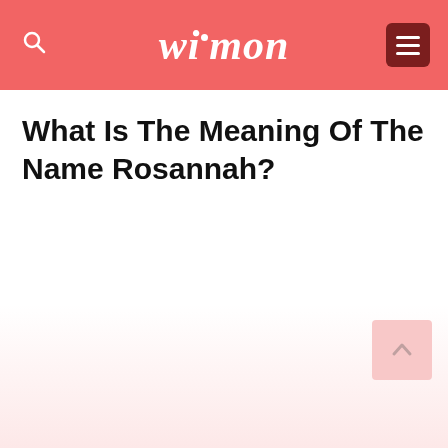wimon
What Is The Meaning Of The Name Rosannah?